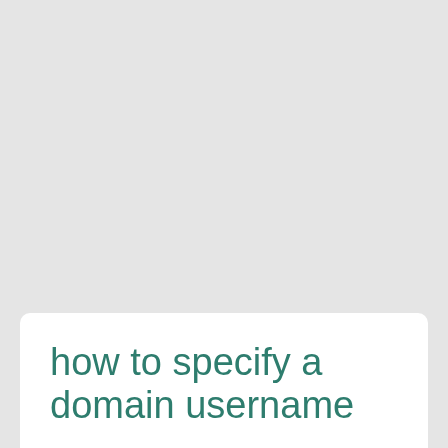how to specify a domain username